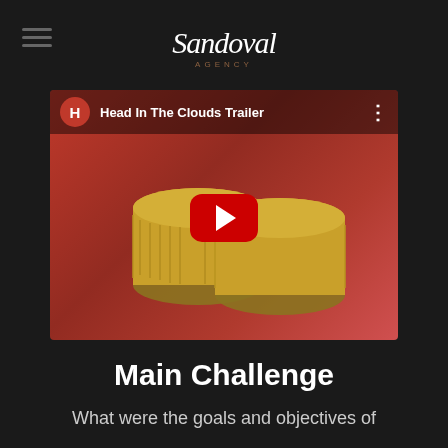Sandoval Agency
[Figure (screenshot): YouTube video thumbnail showing 'Head In The Clouds Trailer' with golden coins illustrated on a red background and a red YouTube play button in the center]
Main Challenge
What were the goals and objectives of